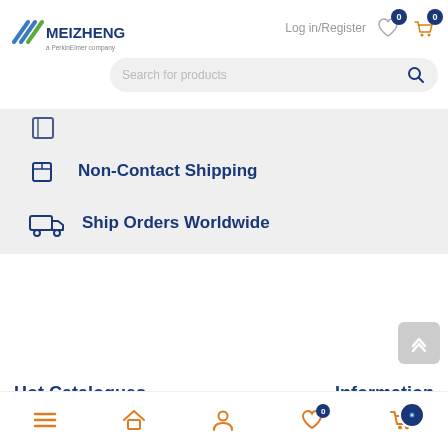[Figure (logo): Meizheng logo with blue/green diagonal lines and text 'MEIZHENG a PerkinElmer company']
Log in/Register
Search for products
Non-Contact Shipping
Ship Orders Worldwide
Hot Catalogues
Information